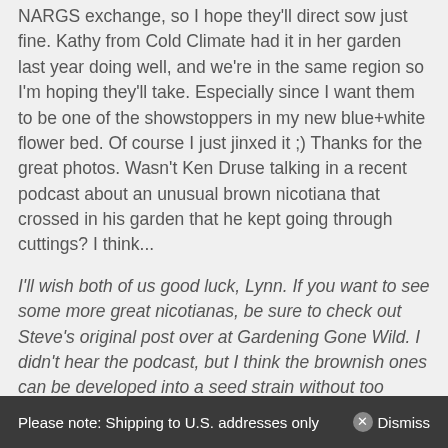NARGS exchange, so I hope they'll direct sow just fine. Kathy from Cold Climate had it in her garden last year doing well, and we're in the same region so I'm hoping they'll take. Especially since I want them to be one of the showstoppers in my new blue+white flower bed. Of course I just jinxed it ;) Thanks for the great photos. Wasn't Ken Druse talking in a recent podcast about an unusual brown nicotiana that crossed in his garden that he kept going through cuttings? I think...
I'll wish both of us good luck, Lynn. If you want to see some more great nicotianas, be sure to check out Steve's original post over at Gardening Gone Wild. I didn't hear the podcast, but I think the brownish ones can be developed into a seed strain without too much trouble. Sometimes, too, the
Please note: Shipping to U.S. addresses only   ✕ Dismiss